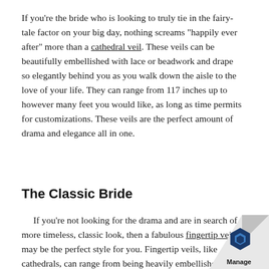If you're the bride who is looking to truly tie in the fairy-tale factor on your big day, nothing screams "happily ever after" more than a cathedral veil. These veils can be beautifully embellished with lace or beadwork and drape so elegantly behind you as you walk down the aisle to the love of your life. They can range from 117 inches up to however many feet you would like, as long as time permits for customizations. These veils are the perfect amount of drama and elegance all in one.
The Classic Bride
If you're not looking for the drama and are in search of a more timeless, classic look, then a fabulous fingertip veil may be the perfect style for you. Fingertip veils, like cathedrals, can range from being heavily embellished or have intricate lace to a simple tulle. A hot sty...
[Figure (logo): Manage logo with blue hexagon icon in bottom right corner]